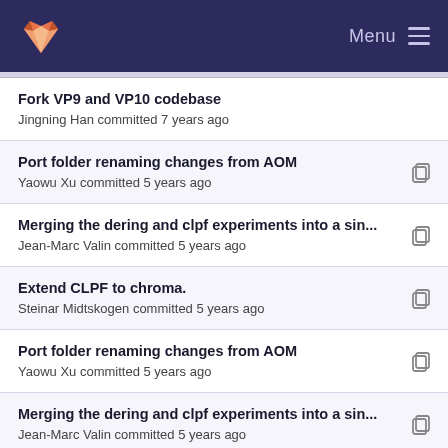GitLab — Menu
Fork VP9 and VP10 codebase
Jingning Han committed 7 years ago
Port folder renaming changes from AOM
Yaowu Xu committed 5 years ago
Merging the dering and clpf experiments into a sin...
Jean-Marc Valin committed 5 years ago
Extend CLPF to chroma.
Steinar Midtskogen committed 5 years ago
Port folder renaming changes from AOM
Yaowu Xu committed 5 years ago
Merging the dering and clpf experiments into a sin...
Jean-Marc Valin committed 5 years ago
Port commits related to clpf and qm experiments
Yaowu Xu committed 6 years ago
Port folder renaming changes from AOM